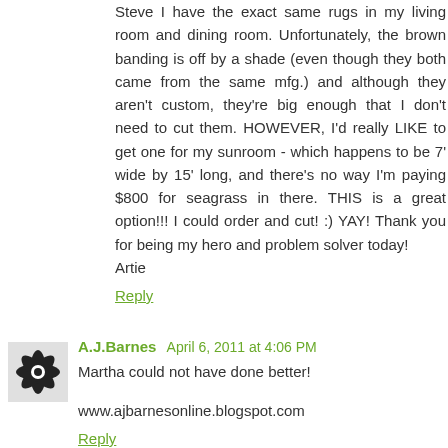Steve I have the exact same rugs in my living room and dining room. Unfortunately, the brown banding is off by a shade (even though they both came from the same mfg.) and although they aren't custom, they're big enough that I don't need to cut them. HOWEVER, I'd really LIKE to get one for my sunroom - which happens to be 7' wide by 15' long, and there's no way I'm paying $800 for seagrass in there. THIS is a great option!!! I could order and cut! :) YAY! Thank you for being my hero and problem solver today!
Artie
Reply
[Figure (photo): Avatar icon for A.J.Barnes - black and white floral/leaf design]
A.J.Barnes April 6, 2011 at 4:06 PM
Martha could not have done better!
www.ajbarnesonline.blogspot.com
Reply
[Figure (photo): Avatar thumbnail showing a house - My Little Bungalow]
My Little Bungalow April 6, 2011 at 8:58 PM